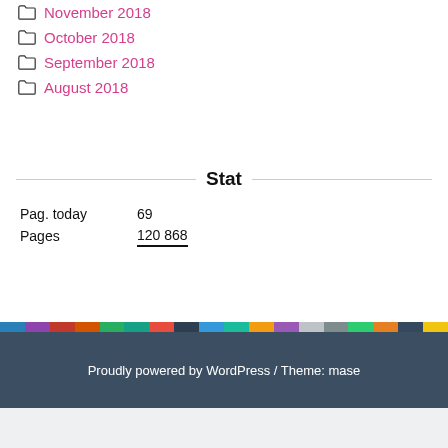November 2018
October 2018
September 2018
August 2018
Stat
| Pag. today | 69 |
| Pages | 120 868 |
Proudly powered by WordPress / Theme: mase